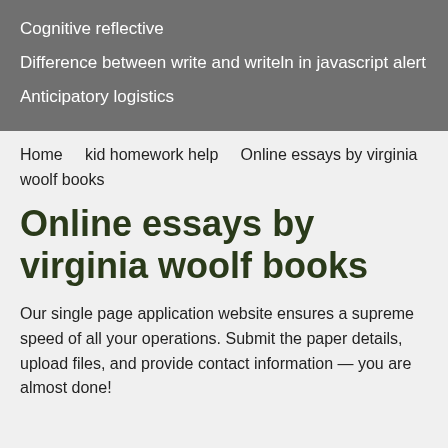Cognitive reflective
Difference between write and writeln in javascript alert
Anticipatory logistics
Home   kid homework help   Online essays by virginia woolf books
Online essays by virginia woolf books
Our single page application website ensures a supreme speed of all your operations. Submit the paper details, upload files, and provide contact information — you are almost done!